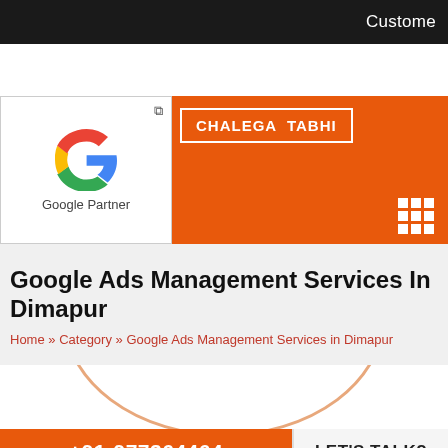Custome
[Figure (logo): Google Partner logo with Google G icon and text 'Google Partner']
CHALEGA TABHI
Google Ads Management Services In Dimapur
Home » Category » Google Ads Management Services in Dimapur
[Figure (illustration): Partial circle arc illustration in orange/beige color]
+91-977364464  LET'S TALK?